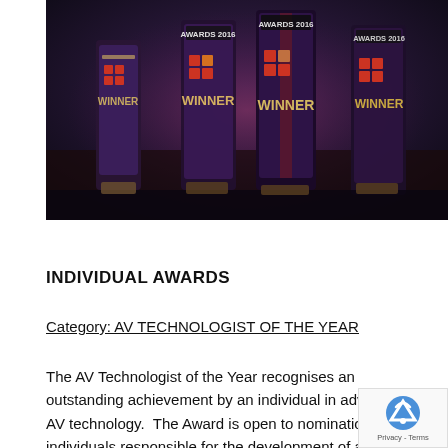[Figure (photo): Photo of multiple award trophies labeled 'AWARDS 2016' and 'WINNER' arranged in a row, dark atmospheric background.]
INDIVIDUAL AWARDS
Category: AV TECHNOLOGIST OF THE YEAR
The AV Technologist of the Year recognises an outstanding achievement by an individual in advancing AV technology.  The Award is open to nominations from individuals responsible for the development of a new...